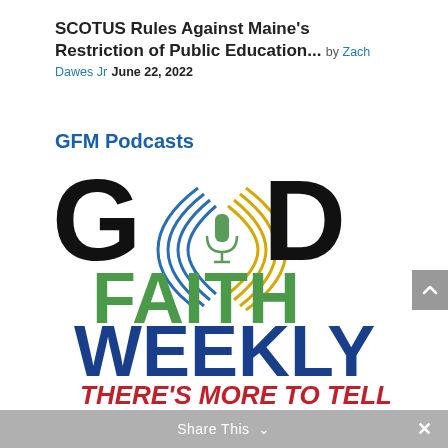SCOTUS Rules Against Maine's Restriction of Public Education... by Zach Dawes Jr June 22, 2022
GFM Podcasts
[Figure (logo): God Faith Weekly podcast logo — large bold black 'G', concentric radio-wave arcs in blue and gold with a green microphone icon in center forming 'O', large bold black 'D', then green 'FAITH' and dark blue 'WEEKLY' below, red italic 'THERE'S MORE TO TELL' at bottom]
Share This ∨  ×